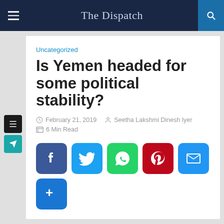The Dispatch
Uncategorized
Is Yemen headed for some political stability?
February 21, 2019   Seetha Lakshmi Dinesh Iyer
6 Min Read
[Figure (infographic): Social media share buttons: Facebook, Twitter, WhatsApp, Pinterest, Email, More]